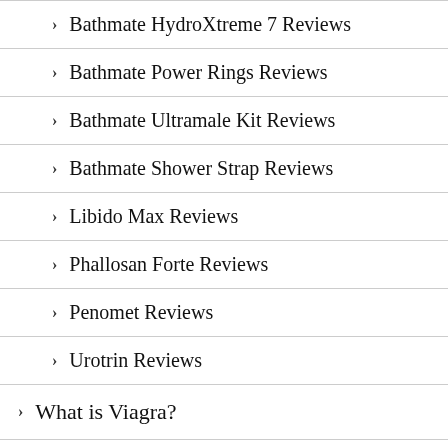Bathmate HydroXtreme 7 Reviews
Bathmate Power Rings Reviews
Bathmate Ultramale Kit Reviews
Bathmate Shower Strap Reviews
Libido Max Reviews
Phallosan Forte Reviews
Penomet Reviews
Urotrin Reviews
What is Viagra?
What is Cialis?
What Is Sildenafil?
What is Tadalafil?
What is Levitra?